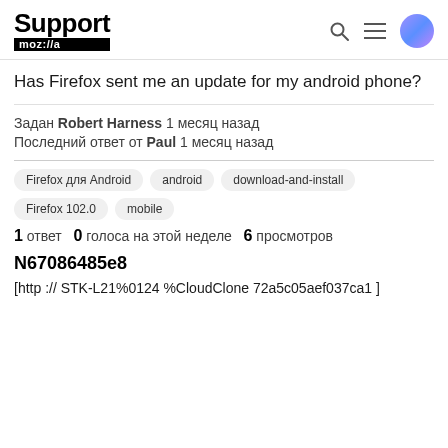Support mozilla
Has Firefox sent me an update for my android phone?
Задан Robert Harness 1 месяц назад
Последний ответ от Paul 1 месяц назад
Firefox для Android  android  download-and-install  Firefox 102.0  mobile
1 ответ  0 голоса на этой неделе  6 просмотров
N67086485e8
[http :// STK-L21%0124 %CloudClone 72a5c05aef037ca1 ]